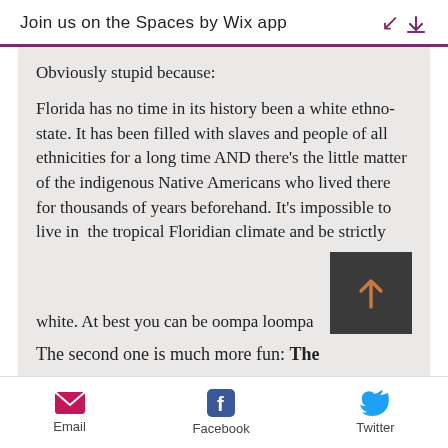Join us on the Spaces by Wix app
Obviously stupid because:
Florida has no time in its history been a white ethno-state. It has been filled with slaves and people of all ethnicities for a long time AND there’s the little matter of the indigenous Native Americans who lived there for thousands of years beforehand. It’s impossible to live in  the tropical Floridian climate and be strictly white. At best you can be oompa loompa
The second one is much more fun: The
Email   Facebook   Twitter